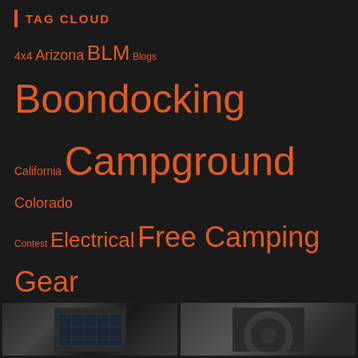TAG CLOUD
[Figure (infographic): Tag cloud with orange-colored tags of varying sizes on dark background: 4x4, Arizona, BLM, Blogs, Boondocking, California, Campground, Colorado, Contest, Electrical, Free Camping, Gear, Giveaway, Hiking, Idaho, Internet, Kayaking, Michigan, Montana, Mountain Biking, National Forest, National Monument, National Park, National Recreation Area, Nevada, New Mexico, North Dakota, Oregon, Photography, Propane, skiing, Solar, South Dakota, State Lands, State Park, Technology, Tennessee, Texas, Utah, Washington, Water, Winter, Wisconsin, Wyoming, YouTube]
[Figure (photo): Two partial thumbnail images at bottom - left shows solar panels (dark rectangular panels), right shows a round dark object]